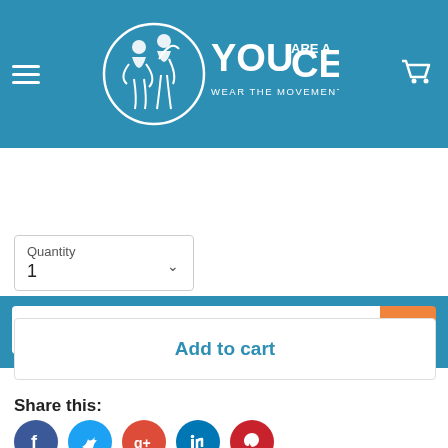[Figure (logo): YOU ARE A CEO logo with tagline WEAR THE MOVEMENT LIVE THE LIFE on blue background header with hamburger menu and cart icon]
[Figure (screenshot): Search bar with placeholder 'What are you looking for?' and orange search button]
Quantity
1
Add to cart
Share this:
[Figure (infographic): Social media sharing icons: Facebook (dark blue), Twitter (light blue), Google+ (red), LinkedIn (blue), Pinterest (red)]
This product has a retail fit like all of our favorite...